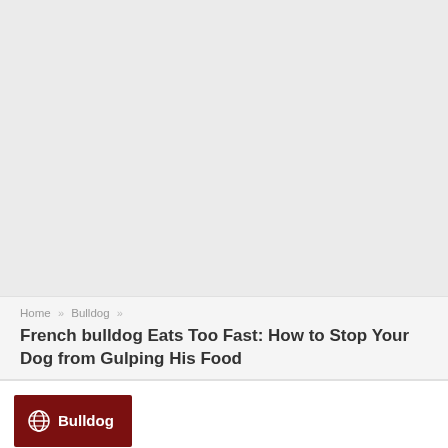[Figure (other): Light gray textured background area filling the top portion of the page]
Home » Bulldog »
French bulldog Eats Too Fast: How to Stop Your Dog from Gulping His Food
[Figure (other): Dark red/maroon category badge button with globe icon and text 'Bulldog']